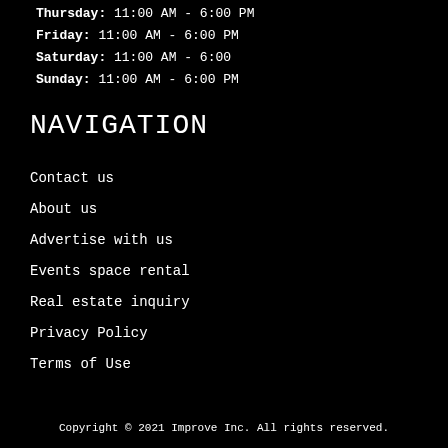Thursday: 11:00 AM - 6:00 PM
Friday: 11:00 AM - 6:00 PM
Saturday: 11:00 AM - 6:00
Sunday: 11:00 AM - 6:00 PM
NAVIGATION
Contact us
About us
Advertise with us
Events space rental
Real estate inquiry
Privacy Policy
Terms of Use
Copyright © 2021 Improve Inc. All rights reserved.